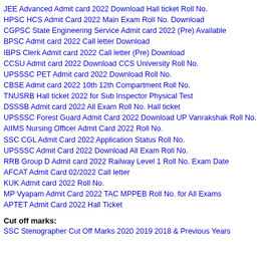JEE Advanced Admit card 2022 Download Hall ticket Roll No.
HPSC HCS Admit Card 2022 Main Exam Roll No. Download
CGPSC State Engineering Service Admit card 2022 (Pre) Available
BPSC Admit card 2022 Call letter Download
IBPS Clerk Admit card 2022 Call letter (Pre) Download
CCSU Admit card 2022 Download CCS University Roll No.
UPSSSC PET Admit card 2022 Download Roll No.
CBSE Admit card 2022 10th 12th Compartment Roll No.
TNUSRB Hall ticket 2022 for Sub Inspector Physical Test
DSSSB Admit card 2022 All Exam Roll No. Hall ticket
UPSSSC Forest Guard Admit Card 2022 Download UP Vanrakshak Roll No.
AIIMS Nursing Officer Admit Card 2022 Roll No.
SSC CGL Admit Card 2022 Application Status Roll No.
UPSSSC Admit Card 2022 Download All Exam Roll No.
RRB Group D Admit card 2022 Railway Level 1 Roll No. Exam Date
AFCAT Admit Card 02/2022 Call letter
KUK Admit card 2022 Roll No.
MP Vyapam Admit Card 2022 TAC MPPEB Roll No. for All Exams
APTET Admit Card 2022 Hall Ticket
Cut off marks:
SSC Stenographer Cut Off Marks 2020 2019 2018 & Previous Years